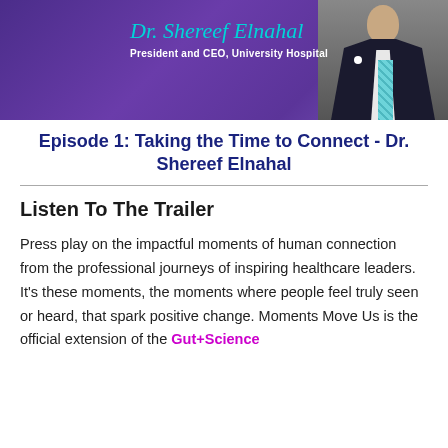[Figure (photo): Banner image with purple/violet background showing Dr. Shereef Elnahal, President and CEO of University Hospital, in a dark suit with a teal plaid tie and white lapel pin. His name appears in teal italic script font with his title below in white.]
Episode 1: Taking the Time to Connect - Dr. Shereef Elnahal
Listen To The Trailer
Press play on the impactful moments of human connection from the professional journeys of inspiring healthcare leaders. It’s these moments, the moments where people feel truly seen or heard, that spark positive change. Moments Move Us is the official extension of the Gut+Science